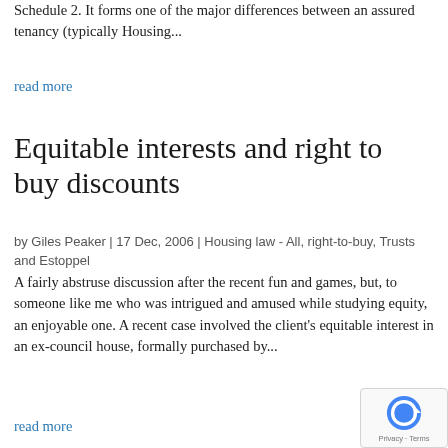Schedule 2. It forms one of the major differences between an assured tenancy (typically Housing...
read more
Equitable interests and right to buy discounts
by Giles Peaker | 17 Dec, 2006 | Housing law - All, right-to-buy, Trusts and Estoppel
A fairly abstruse discussion after the recent fun and games, but, to someone like me who was intrigued and amused while studying equity, an enjoyable one. A recent case involved the client's equitable interest in an ex-council house, formally purchased by...
read more